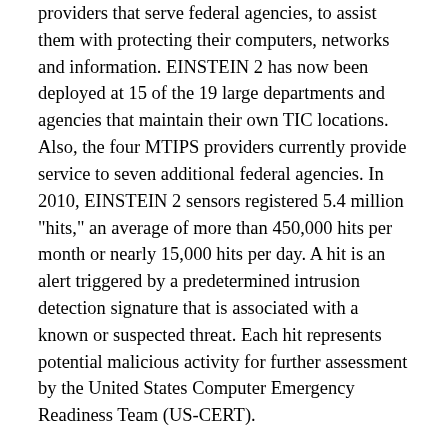providers that serve federal agencies, to assist them with protecting their computers, networks and information. EINSTEIN 2 has now been deployed at 15 of the 19 large departments and agencies that maintain their own TIC locations. Also, the four MTIPS providers currently provide service to seven additional federal agencies. In 2010, EINSTEIN 2 sensors registered 5.4 million "hits," an average of more than 450,000 hits per month or nearly 15,000 hits per day. A hit is an alert triggered by a predetermined intrusion detection signature that is associated with a known or suspected threat. Each hit represents potential malicious activity for further assessment by the United States Computer Emergency Readiness Team (US-CERT).
The FY 2012 budget request allows NCSD to expedite the deployment of the third phase of the EINSTEIN system—an intrusion prevention capability that will provide DHS with the ability to automatically detect and disrupt malicious activity before harm is done to critical networks and systems, and as part of this, the agreement to DHS to...